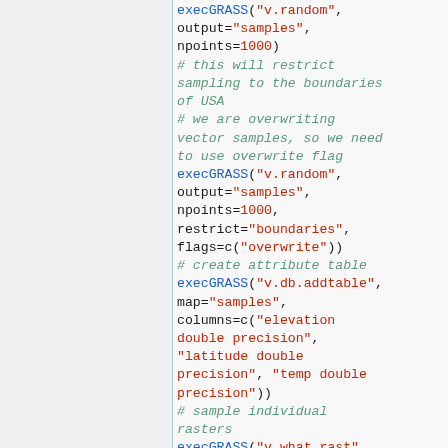[Figure (screenshot): Code snippet showing R GRASS GIS commands: execGRASS calls with v.random, v.db.addtable, and v.what.rast functions, with comments explaining sampling restriction and overwrite flag usage]